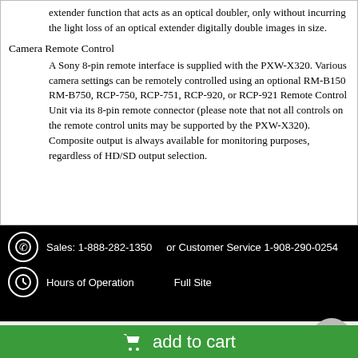extender function that acts as an optical doubler, only without incurring the light loss of an optical extender digitally double images in size.
Camera Remote Control
A Sony 8-pin remote interface is supplied with the PXW-X320. Various camera settings can be remotely controlled using an optional RM-B150 RM-B750, RCP-750, RCP-751, RCP-920, or RCP-921 Remote Control Unit via its 8-pin remote connector (please note that not all controls on the remote control units may be supported by the PXW-X320). Composite output is always available for monitoring purposes, regardless of HD/SD output selection.
Sales: 1-888-282-1350   or Customer Service 1-908-290-0254
Hours of Operation   Full Site
Store Information
Contact Us
add to cart